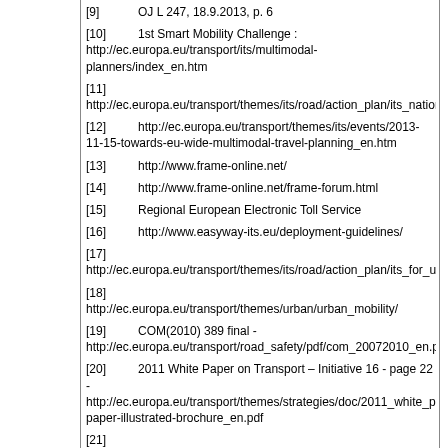[9]   OJ L 247, 18.9.2013, p. 6
[10]   1st Smart Mobility Challenge : http://ec.europa.eu/transport/its/multimodal-planners/index_en.htm
[11]   http://ec.europa.eu/transport/themes/its/road/action_plan/its_national_repor
[12]   http://ec.europa.eu/transport/themes/its/events/2013-11-15-towards-eu-wide-multimodal-travel-planning_en.htm
[13]   http://www.frame-online.net/
[14]   http://www.frame-online.net/frame-forum.html
[15]   Regional European Electronic Toll Service
[16]   http://www.easyway-its.eu/deployment-guidelines/
[17]   http://ec.europa.eu/transport/themes/its/road/action_plan/its_for_urban_area
[18]   http://ec.europa.eu/transport/themes/urban/urban_mobility/
[19]   COM(2010) 389 final - http://ec.europa.eu/transport/road_safety/pdf/com_20072010_en.pdf
[20]   2011 White Paper on Transport – Initiative 16 - page 22 - http://ec.europa.eu/transport/themes/strategies/doc/2011_white_paper/white-paper-illustrated-brochure_en.pdf
[21]   http://ec.europa.eu/enterprise/sectors/automotive/documents/unece/index_e
[22]   http://ec.europa.eu/smart-